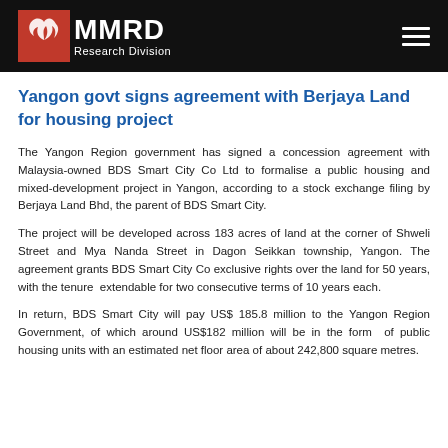MMRD Research Division
Yangon govt signs agreement with Berjaya Land for housing project
The Yangon Region government has signed a concession agreement with Malaysia-owned BDS Smart City Co Ltd to formalise a public housing and mixed-development project in Yangon, according to a stock exchange filing by Berjaya Land Bhd, the parent of BDS Smart City.
The project will be developed across 183 acres of land at the corner of Shweli Street and Mya Nanda Street in Dagon Seikkan township, Yangon. The agreement grants BDS Smart City Co exclusive rights over the land for 50 years, with the tenure extendable for two consecutive terms of 10 years each.
In return, BDS Smart City will pay US$ 185.8 million to the Yangon Region Government, of which around US$182 million will be in the form of public housing units with an estimated net floor area of about 242,800 square metres.